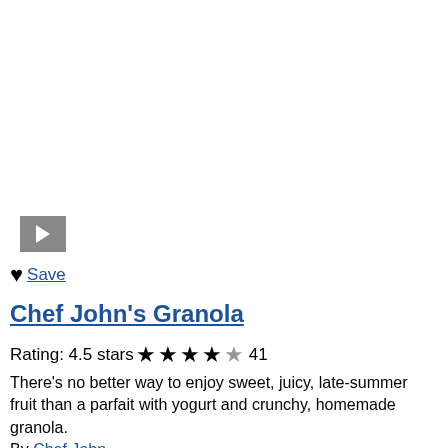[Figure (other): Video thumbnail with grey background and white play button]
♥ Save
Chef John's Granola
Rating: 4.5 stars ★ ★ ★ ★ ☆ 41
There's no better way to enjoy sweet, juicy, late-summer fruit than a parfait with yogurt and crunchy, homemade granola.
By Chef John
[Figure (other): Black banner advertisement with dark red polka dots and white bold text reading 'We help people find answers, solve problems and get inspired.']